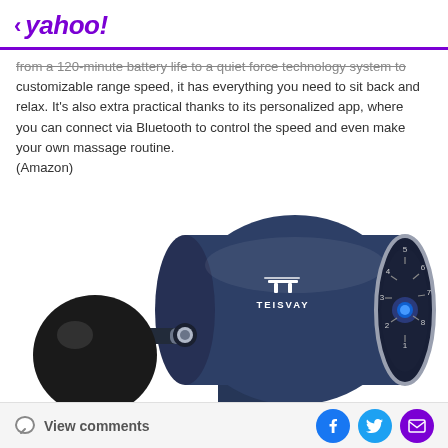< yahoo!
from a 120-minute battery life to a quiet force technology system to customizable range speed, it has everything you need to sit back and relax. It's also extra practical thanks to its personalized app, where you can connect via Bluetooth to control the speed and even make your own massage routine.
(Amazon)
[Figure (photo): A TEISVAY brand massage gun in dark navy blue color with a circular dial/speed selector on the right side showing numbers 1-8, a spherical black attachment on the left stem, and additional attachments at the bottom. The device is photographed against a white background.]
View comments | Facebook | Twitter | Email